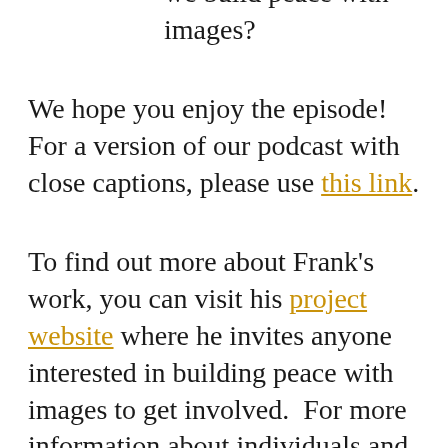wider world? How can we build peace with images?
We hope you enjoy the episode! For a version of our podcast with close captions, please use this link.
To find out more about Frank's work, you can visit his project website where he invites anyone interested in building peace with images to get involved.  For more information about individuals and their projects, access to resources and more, please have a look on the University of St Andrews Visualising War website.
Music composed by Jonathan Young
Sound mixing by Zofia Guertin